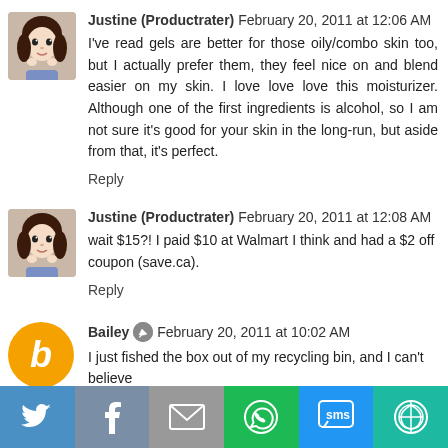Justine (Productrater)  February 20, 2011 at 12:06 AM
I've read gels are better for those oily/combo skin too, but I actually prefer them, they feel nice on and blend easier on my skin. I love love love this moisturizer. Although one of the first ingredients is alcohol, so I am not sure it's good for your skin in the long-run, but aside from that, it's perfect.
Reply
Justine (Productrater)  February 20, 2011 at 12:08 AM
wait $15?! I paid $10 at Walmart I think and had a $2 off coupon (save.ca).
Reply
Bailey  February 20, 2011 at 10:02 AM
I just fished the box out of my recycling bin, and I can't believe
[Figure (infographic): Social share bar with Twitter, Facebook, Email, WhatsApp, SMS, and More buttons]